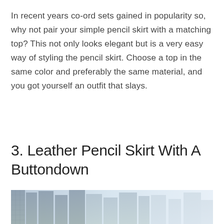In recent years co-ord sets gained in popularity so, why not pair your simple pencil skirt with a matching top? This not only looks elegant but is a very easy way of styling the pencil skirt. Choose a top in the same color and preferably the same material, and you got yourself an outfit that slays.
3. Leather Pencil Skirt With A Buttondown
[Figure (photo): City skyline with tall glass skyscrapers in a misty/hazy atmosphere, light blue-grey tones]